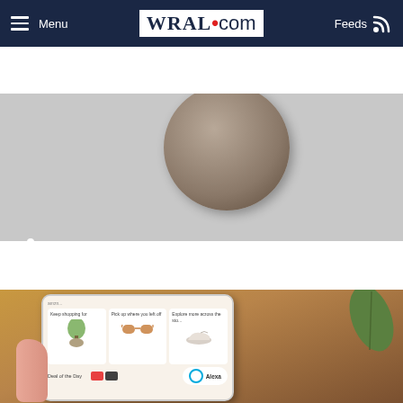Menu  WRAL.com  Feeds
[Figure (screenshot): Video player area showing a round object (possibly a watch/ball) on a grey background with media playback controls and progress bar]
You Can Afford These Smart Beds! See Them Now
[Figure (photo): Hand holding a smartphone displaying an Amazon shopping app interface with cards labeled 'Keep shopping for', 'Pick up where you left off', 'Explore more across the store', 'Deal of the Day', and an Alexa button]